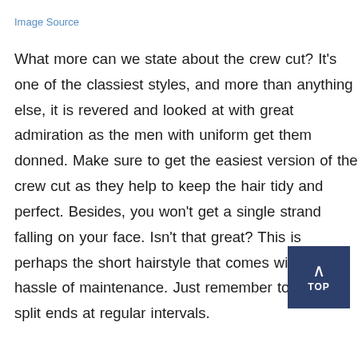Image Source
What more can we state about the crew cut? It's one of the classiest styles, and more than anything else, it is revered and looked at with great admiration as the men with uniform get them donned. Make sure to get the easiest version of the crew cut as they help to keep the hair tidy and perfect. Besides, you won't get a single strand falling on your face. Isn't that great? This is perhaps the short hairstyle that comes without any hassle of maintenance. Just remember to trim the split ends at regular intervals.